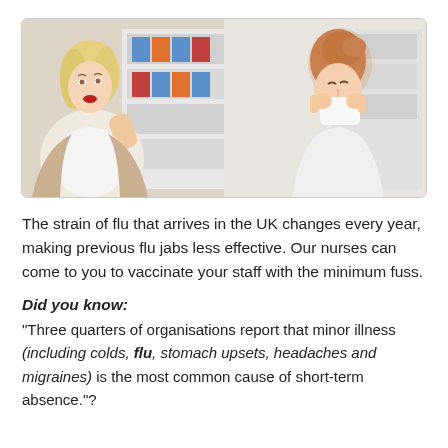[Figure (photo): Two women in an office setting. On the left, a woman in a white blouse recoils with her hand raised as if pushing away. On the right, a woman in a white shirt blows her nose into a tissue. Office shelves with binders visible in background.]
The strain of flu that arrives in the UK changes every year, making previous flu jabs less effective. Our nurses can come to you to vaccinate your staff with the minimum fuss.
Did you know:
"Three quarters of organisations report that minor illness (including colds, flu, stomach upsets, headaches and migraines) is the most common cause of short-term absence."?